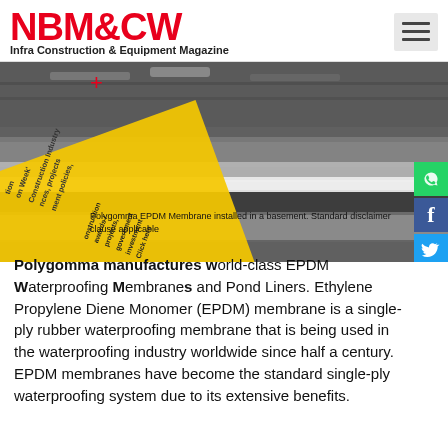NBM&CW Infra Construction & Equipment Magazine
[Figure (photo): Polygomma EPDM Membrane installed in a basement showing black rubber membrane being laid on surface. Yellow and blue diagonal overlay elements with construction-related text. Standard disclaimer clause applicable.]
Polygomma EPDM Membrane installed in a basement. Standard disclaimer clause applicable
Polygomma manufactures world-class EPDM Waterproofing Membranes and Pond Liners. Ethylene Propylene Diene Monomer (EPDM) membrane is a single-ply rubber waterproofing membrane that is being used in the waterproofing industry worldwide since half a century. EPDM membranes have become the standard single-ply waterproofing system due to its extensive benefits.